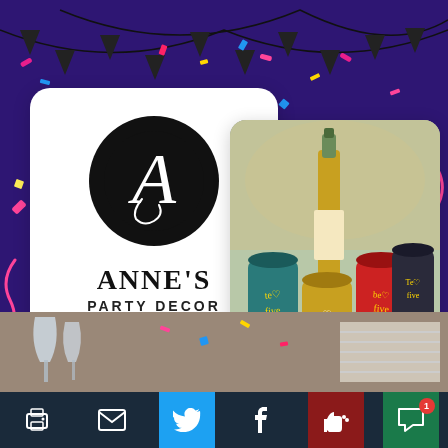[Figure (illustration): Anne's Party Decor social media post. Dark purple background with confetti and bunting decorations. Left side: white rounded card with Anne's Party Decor logo (stylized A in black circle) and brand name. Right side: photo of colorful wine tumblers/cups with handwritten text. Bottom: social media action bar with print, email, Twitter, Facebook, like, and comment buttons.]